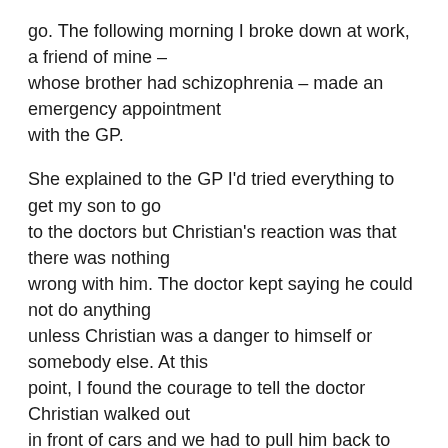go. The following morning I broke down at work, a friend of mine – whose brother had schizophrenia – made an emergency appointment with the GP.
She explained to the GP I'd tried everything to get my son to go to the doctors but Christian's reaction was that there was nothing wrong with him. The doctor kept saying he could not do anything unless Christian was a danger to himself or somebody else. At this point, I found the courage to tell the doctor Christian walked out in front of cars and we had to pull him back to the kerb.
I also told him a few weeks previously Christian had bought